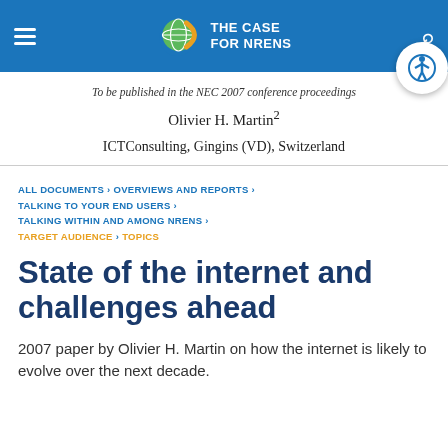THE CASE FOR NRENs
To be published in the NEC 2007 conference proceedings
Olivier H. Martin²
ICTConsulting, Gingins (VD), Switzerland
ALL DOCUMENTS › OVERVIEWS AND REPORTS › TALKING TO YOUR END USERS › TALKING WITHIN AND AMONG NRENS › TARGET AUDIENCE › TOPICS
State of the internet and challenges ahead
2007 paper by Olivier H. Martin on how the internet is likely to evolve over the next decade.